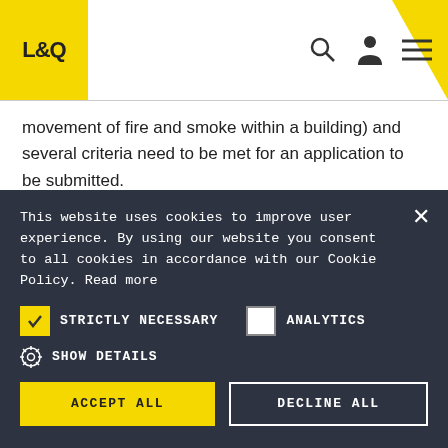L&Q
movement of fire and smoke within a building) and several criteria need to be met for an application to be submitted.
Building safety inspection
A building safety inspection will result in a fire engineer, or Chartered Building Surveyor's report which confirms
This website uses cookies to improve user experience. By using our website you consent to all cookies in accordance with our Cookie Policy. Read more
STRICTLY NECESSARY
ANALYTICS
SHOW DETAILS
ACCEPT ALL
DECLINE ALL